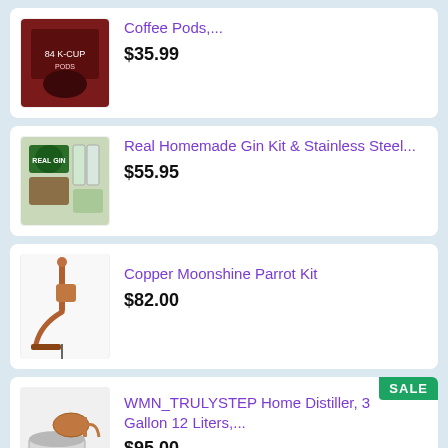[Figure (photo): Coffee pods product image - dark red packaging with K-Cup pods]
Coffee Pods,...
$35.99
[Figure (photo): Real Gin Making Kit with stainless steel equipment and bottles]
Real Homemade Gin Kit & Stainless Steel...
$55.95
[Figure (photo): Copper Moonshine Parrot Kit distillation apparatus]
Copper Moonshine Parrot Kit
$82.00
[Figure (photo): WMN_TRULYSTEP Home Distiller 3 Gallon 12 Liters stainless steel pot still]
WMN_TRULYSTEP Home Distiller, 3 Gallon 12 Liters,...
$95.00
[Figure (photo): Thousand Oaks Barrel Co. Kentucky Bourbon aging kit with small barrel]
Thousand Oaks Barrel Co. - Kentucky Bourbon...
$99.95